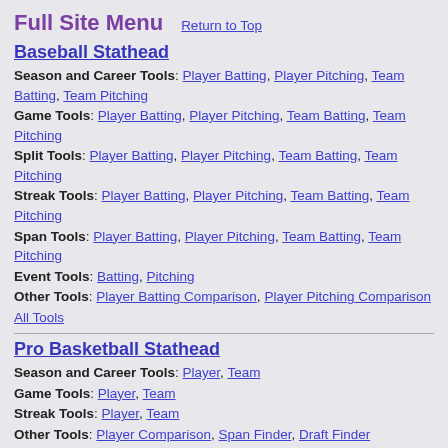Full Site Menu   Return to Top
Baseball Stathead
Season and Career Tools: Player Batting, Player Pitching, Team Batting, Team Pitching
Game Tools: Player Batting, Player Pitching, Team Batting, Team Pitching
Split Tools: Player Batting, Player Pitching, Team Batting, Team Pitching
Streak Tools: Player Batting, Player Pitching, Team Batting, Team Pitching
Span Tools: Player Batting, Player Pitching, Team Batting, Team Pitching
Event Tools: Batting, Pitching
Other Tools: Player Batting Comparison, Player Pitching Comparison
All Tools
Pro Basketball Stathead
Season and Career Tools: Player, Team
Game Tools: Player, Team
Streak Tools: Player, Team
Other Tools: Player Comparison, Span Finder, Draft Finder